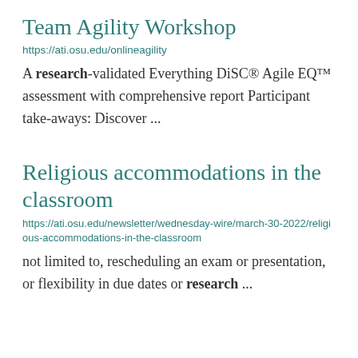Team Agility Workshop
https://ati.osu.edu/onlineagility
A research-validated Everything DiSC® Agile EQ™ assessment with comprehensive report Participant take-aways: Discover ...
Religious accommodations in the classroom
https://ati.osu.edu/newsletter/wednesday-wire/march-30-2022/religious-accommodations-in-the-classroom
not limited to, rescheduling an exam or presentation, or flexibility in due dates or research ...